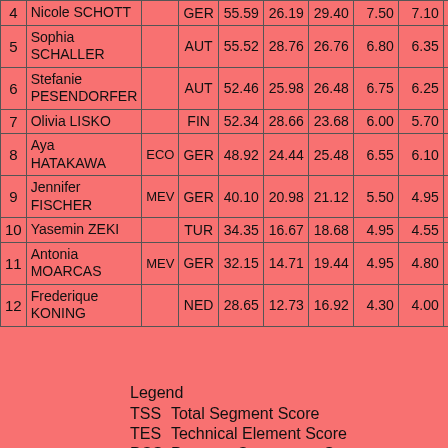| # | Name |  | Nation | TSS | TES | PCS | SS | TR | ... |
| --- | --- | --- | --- | --- | --- | --- | --- | --- | --- |
| 4 | Nicole SCHOTT |  | GER | 55.59 | 26.19 | 29.40 | 7.50 | 7.10 | 7... |
| 5 | Sophia SCHALLER |  | AUT | 55.52 | 28.76 | 26.76 | 6.80 | 6.35 | 6... |
| 6 | Stefanie PESENDORFER |  | AUT | 52.46 | 25.98 | 26.48 | 6.75 | 6.25 | 6... |
| 7 | Olivia LISKO |  | FIN | 52.34 | 28.66 | 23.68 | 6.00 | 5.70 | 6... |
| 8 | Aya HATAKAWA | ECO | GER | 48.92 | 24.44 | 25.48 | 6.55 | 6.10 | 6... |
| 9 | Jennifer FISCHER | MEV | GER | 40.10 | 20.98 | 21.12 | 5.50 | 4.95 | 5... |
| 10 | Yasemin ZEKI |  | TUR | 34.35 | 16.67 | 18.68 | 4.95 | 4.55 | 4... |
| 11 | Antonia MOARCAS | MEV | GER | 32.15 | 14.71 | 19.44 | 4.95 | 4.80 | 4... |
| 12 | Frederique KONING |  | NED | 28.65 | 12.73 | 16.92 | 4.30 | 4.00 | 4... |
Legend
TSS  Total Segment Score
TES  Technical Element Score
PCS  Program Component Score
SS   Skating Skills
TR   Transitions